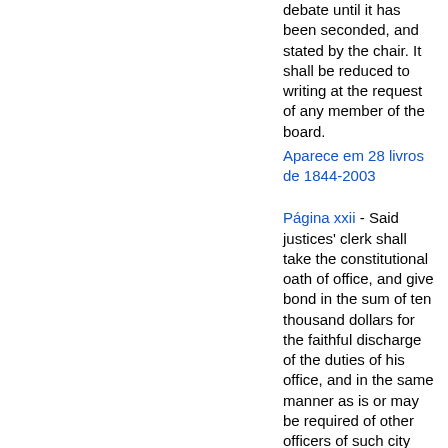debate until it has been seconded, and stated by the chair. It shall be reduced to writing at the request of any member of the board.
Aparece em 28 livros de 1844-2003
Página xxii - Said justices' clerk shall take the constitutional oath of office, and give bond in the sum of ten thousand dollars for the faithful discharge of the duties of his office, and in the same manner as is or may be required of other officers of such city and county.
Aparece em 134 livros de 1803-1982